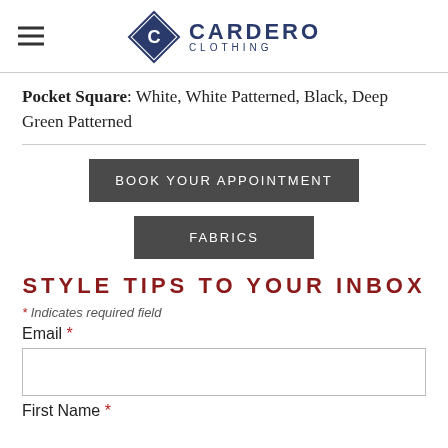Cardero Clothing
Pocket Square: White, White Patterned, Black, Deep Green Patterned
BOOK YOUR APPOINTMENT
FABRICS
STYLE TIPS TO YOUR INBOX
* Indicates required field
Email *
First Name *